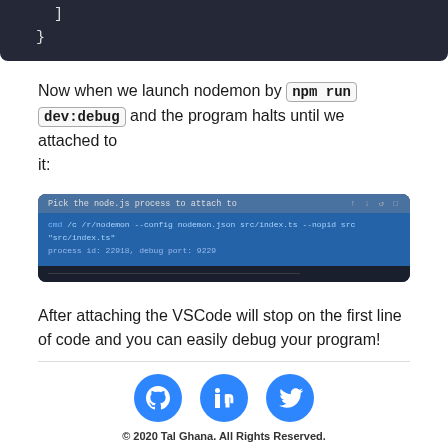[Figure (screenshot): Dark code editor block showing closing bracket ] and closing brace } on dark background #252836]
Now when we launch nodemon by npm run dev:debug and the program halts until we attached to it:
[Figure (screenshot): VSCode Node.js process picker dialog showing 'Pick the node.js process to attach to' with a highlighted process entry: cmd /c /r/nodemon --config nodemon.json src/index.ts --nopid src src/index.ts, process id 22918, debug port 9229]
After attaching the VSCode will stop on the first line of code and you can easily debug your program!
[Figure (illustration): Three circular blue social media icons: GitHub, LinkedIn, Twitter]
© 2020 Tal Ghana. All Rights Reserved.